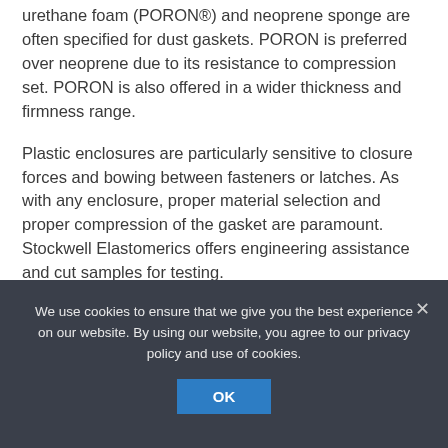urethane foam (PORON®) and neoprene sponge are often specified for dust gaskets. PORON is preferred over neoprene due to its resistance to compression set. PORON is also offered in a wider thickness and firmness range.
Plastic enclosures are particularly sensitive to closure forces and bowing between fasteners or latches. As with any enclosure, proper material selection and proper compression of the gasket are paramount. Stockwell Elastomerics offers engineering assistance and cut samples for testing.
We use cookies to ensure that we give you the best experience on our website. By using our website, you agree to our privacy policy and use of cookies.